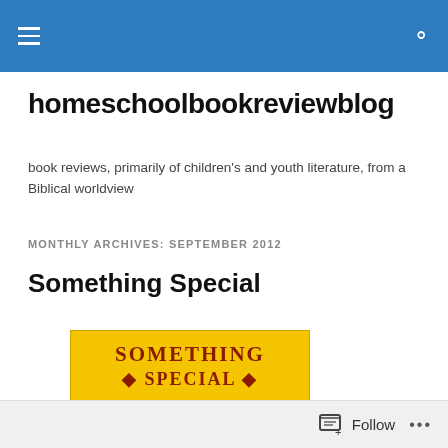homeschoolbookreviewblog — navigation header bar
homeschoolbookreviewblog
book reviews, primarily of children's and youth literature, from a Biblical worldview
MONTHLY ARCHIVES: SEPTEMBER 2012
Something Special
[Figure (photo): Book cover of 'Something Special' — yellow cover with red serif text reading 'SOMETHING SPECIAL' and a green decorative bottom section]
Follow ...